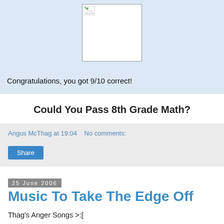[Figure (other): Broken image placeholder showing a small broken image icon in the top-left corner of a white box with border, set against a light blue background]
Congratulations, you got 9/10 correct!
Could You Pass 8th Grade Math?
Angus McThag at 19:04   No comments:
Share
25 June 2006
Music To Take The Edge Off
Thag's Anger Songs >:[
"Judgement Day", Son House.
"The Game", Disturbed.
"Dio Motherfucker, Die" D...